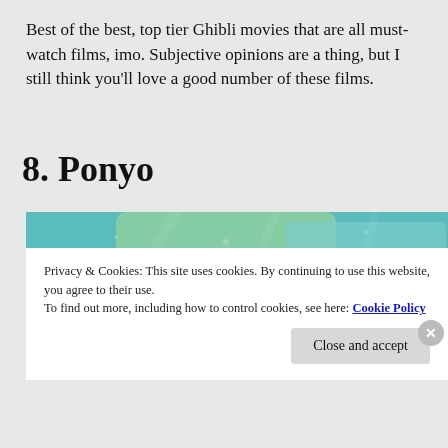Best of the best, top tier Ghibli movies that are all must-watch films, imo. Subjective opinions are a thing, but I still think you'll love a good number of these films.
8. Ponyo
[Figure (illustration): Underwater scene from the Ghibli movie Ponyo, showing aquatic creatures including fish and jellyfish in a teal/blue-green underwater environment with coral and rock formations.]
Privacy & Cookies: This site uses cookies. By continuing to use this website, you agree to their use.
To find out more, including how to control cookies, see here: Cookie Policy